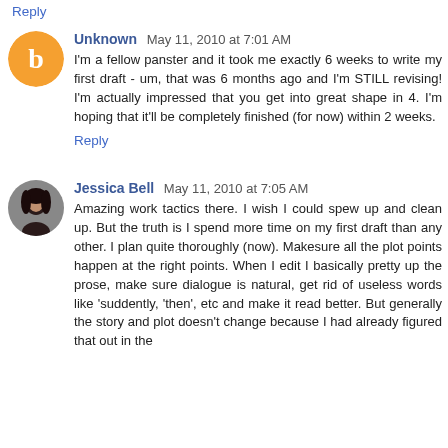Reply
Unknown  May 11, 2010 at 7:01 AM
I'm a fellow panster and it took me exactly 6 weeks to write my first draft - um, that was 6 months ago and I'm STILL revising! I'm actually impressed that you get into great shape in 4. I'm hoping that it'll be completely finished (for now) within 2 weeks.
Reply
Jessica Bell  May 11, 2010 at 7:05 AM
Amazing work tactics there. I wish I could spew up and clean up. But the truth is I spend more time on my first draft than any other. I plan quite thoroughly (now). Makesure all the plot points happen at the right points. When I edit I basically pretty up the prose, make sure dialogue is natural, get rid of useless words like 'suddently, 'then', etc and make it read better. But generally the story and plot doesn't change because I had already figured that out in the